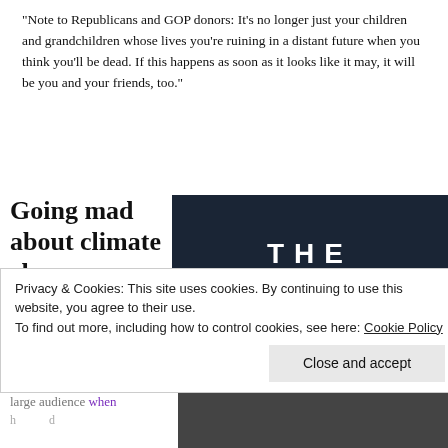“Note to Republicans and GOP donors: It’s no longer just your children and grandchildren whose lives you’re ruining in a distant future when you think you’ll be dead. If this happens as soon as it looks like it may, it will be you and your friends, too.”
Going mad about climate change
“We Are Talking Billions of People Displaced by Sea Level Rise”
[Figure (illustration): Book cover for 'The End of Ice' on dark navy background with large white bold text]
Privacy & Cookies: This site uses cookies. By continuing to use this website, you agree to their use.
To find out more, including how to control cookies, see here: Cookie Policy
Close and accept
large audience when
[Figure (photo): Dark outdoor photo at bottom right of page]